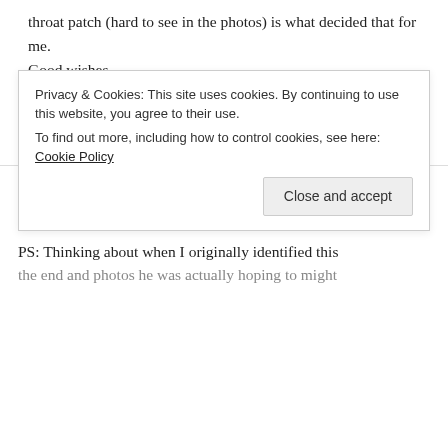throat patch (hard to see in the photos) is what decided that for me.
Good wishes,
Nancie
REPLY
Nancie says: February 6, 2021 at 2:47 pm
PS: Thinking about when I originally identified this
Privacy & Cookies: This site uses cookies. By continuing to use this website, you agree to their use. To find out more, including how to control cookies, see here: Cookie Policy
Close and accept
the end and photos he was actually hoping to might